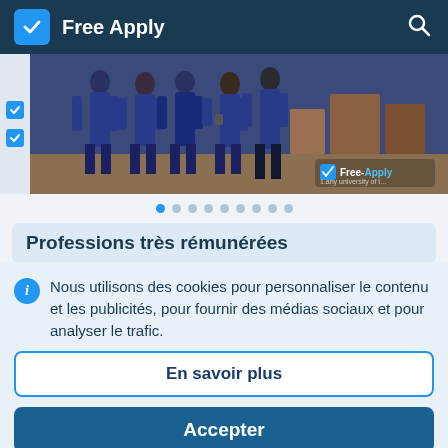Free Apply
[Figure (photo): Group of people in blue uniforms standing in a room, Free-Apply watermark visible]
• • • • • • • • (carousel dots)
Professions très rémunérées
Les programmes comprennent une formation
Nous utilisons des cookies pour personnaliser le contenu et les publicités, pour fournir des médias sociaux et pour analyser le trafic.
En savoir plus
Accepter